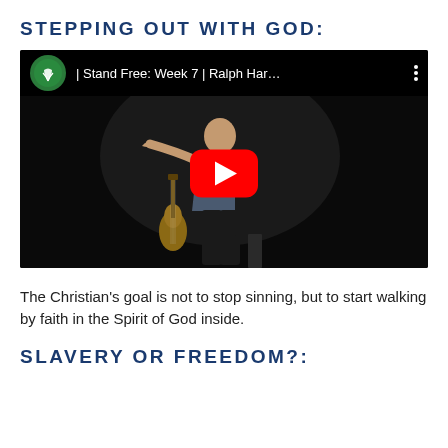STEPPING OUT WITH GOD:
[Figure (screenshot): YouTube video thumbnail showing a presenter on stage with one arm extended, a guitar leaning against a stand nearby, on a dark stage. The video title reads '| Stand Free: Week 7 | Ralph Har…' with a church logo (green circle with white leaf/plant design). A red YouTube play button is overlaid in the center.]
The Christian's goal is not to stop sinning, but to start walking by faith in the Spirit of God inside.
SLAVERY OR FREEDOM?: